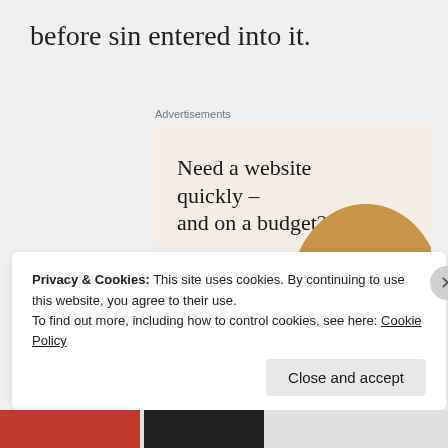before sin entered into it.
Advertisements
[Figure (infographic): Advertisement banner with beige background. Headline: 'Need a website quickly – and on a budget?' Subtext: 'Let us build it for you'. Button labeled 'Let's get started'. Circular image of hands typing on a laptop.]
Privacy & Cookies: This site uses cookies. By continuing to use this website, you agree to their use.
To find out more, including how to control cookies, see here: Cookie Policy
Close and accept